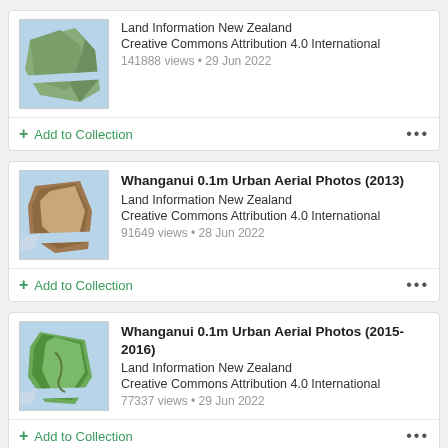[Figure (map): Thumbnail map of a coastal New Zealand region, aerial/satellite imagery]
Land Information New Zealand
Creative Commons Attribution 4.0 International
141888 views • 29 Jun 2022
+ Add to Collection
[Figure (map): Thumbnail map of Whanganui region, aerial imagery showing coastal area]
Whanganui 0.1m Urban Aerial Photos (2013)
Land Information New Zealand
Creative Commons Attribution 4.0 International
91649 views • 28 Jun 2022
+ Add to Collection
[Figure (map): Thumbnail map of Whanganui region 2015-2016, aerial/satellite imagery showing green vegetation]
Whanganui 0.1m Urban Aerial Photos (2015-2016)
Land Information New Zealand
Creative Commons Attribution 4.0 International
77337 views • 29 Jun 2022
+ Add to Collection